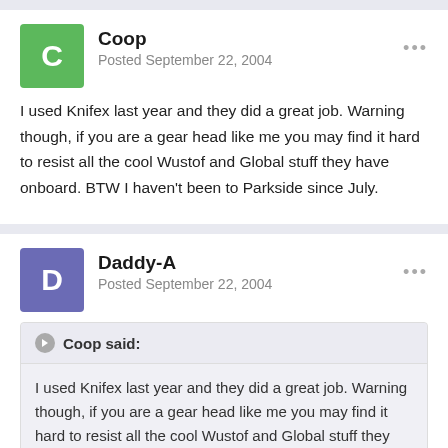Coop
Posted September 22, 2004
I used Knifex last year and they did a great job. Warning though, if you are a gear head like me you may find it hard to resist all the cool Wustof and Global stuff they have onboard. BTW I haven't been to Parkside since July.
Daddy-A
Posted September 22, 2004
Coop said:
I used Knifex last year and they did a great job. Warning though, if you are a gear head like me you may find it hard to resist all the cool Wustof and Global stuff they have onboard. BTW I haven't been to Parkside since July.